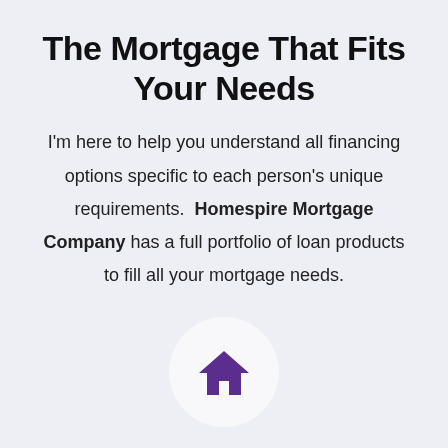The Mortgage That Fits Your Needs
I'm here to help you understand all financing options specific to each person's unique requirements. Homespire Mortgage Company has a full portfolio of loan products to fill all your mortgage needs.
[Figure (illustration): A white circle containing a purple house/home icon]